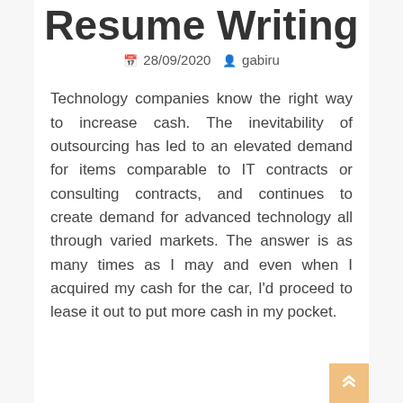Resume Writing
28/09/2020  gabiru
Technology companies know the right way to increase cash. The inevitability of outsourcing has led to an elevated demand for items comparable to IT contracts or consulting contracts, and continues to create demand for advanced technology all through varied markets. The answer is as many times as I may and even when I acquired my cash for the car, I'd proceed to lease it out to put more cash in my pocket.